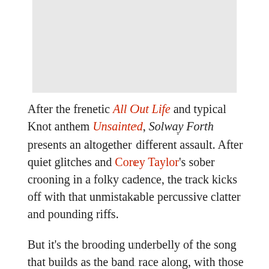[Figure (photo): Gray placeholder image rectangle at top of page]
After the frenetic All Out Life and typical Knot anthem Unsainted, Solway Forth presents an altogether different assault. After quiet glitches and Corey Taylor's sober crooning in a folky cadence, the track kicks off with that unmistakable percussive clatter and pounding riffs.
But it's the brooding underbelly of the song that builds as the band race along, with those urgent melodic guitar lines that cue Taylor's harsh yet catchy vocals, that really lure us in. Mournful piano is